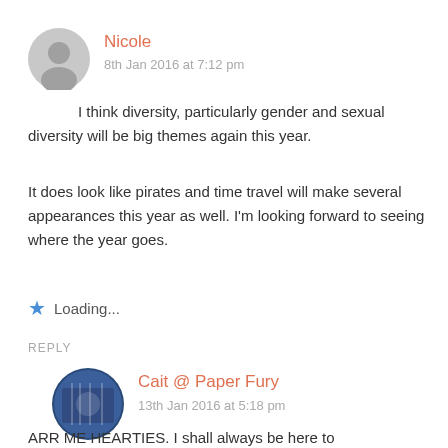Nicole
8th Jan 2016 at 7:12 pm
I think diversity, particularly gender and sexual diversity will be big themes again this year.
It does look like pirates and time travel will make several appearances this year as well. I'm looking forward to seeing where the year goes.
Loading...
REPLY
Cait @ Paper Fury
13th Jan 2016 at 5:18 pm
ARR ME HEARTIES. I shall always be here to